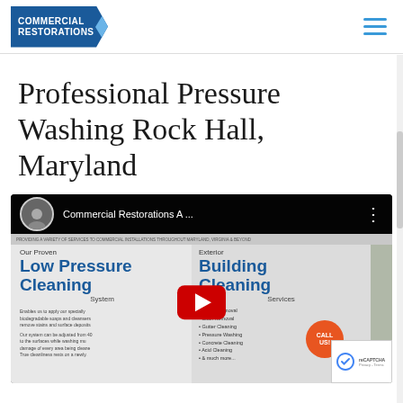[Figure (logo): Commercial Restorations logo — blue banner with white text reading COMMERCIAL RESTORATIONS with a diagonal accent]
Professional Pressure Washing Rock Hall, Maryland
[Figure (screenshot): YouTube video thumbnail showing Commercial Restorations video titled 'Commercial Restorations A ...' with a man in a suit as the channel avatar. The thumbnail shows a flyer with 'Our Proven Low Pressure Cleaning System' on the left and 'Exterior Building Cleaning Services' on the right with a red play button overlay. A 'CALL US!' orange badge is visible in the bottom right corner along with a reCAPTCHA widget.]